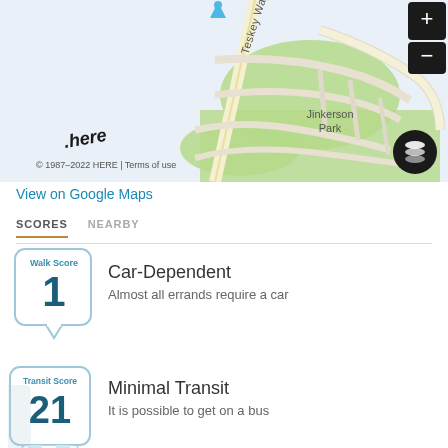[Figure (map): HERE map showing Teskey Way, Macswan Dr, and Jinkerson Park area with road network, zoom controls (+/-), scale bar (200 m), and a blue location pin marker. Map copyright 1987-2022 HERE with Terms of use link.]
View on Google Maps
SCORES  NEARBY
Walk Score 1 Car-Dependent Almost all errands require a car
Transit Score 21 Minimal Transit It is possible to get on a bus